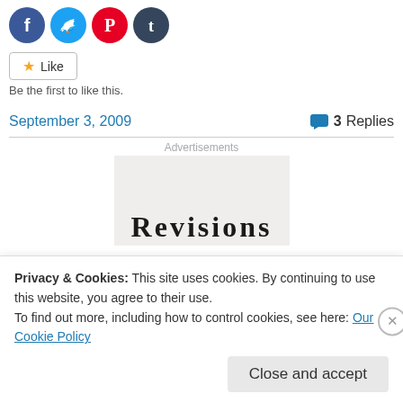[Figure (other): Social sharing icon buttons: Facebook (blue circle), Twitter (light blue circle), Pinterest (red circle), Tumblr (dark blue circle)]
[Figure (other): Like button with star icon]
Be the first to like this.
September 3, 2009
3 Replies
Advertisements
[Figure (other): Advertisement placeholder box with partial bold text visible at bottom]
Privacy & Cookies: This site uses cookies. By continuing to use this website, you agree to their use.
To find out more, including how to control cookies, see here: Our Cookie Policy
Close and accept